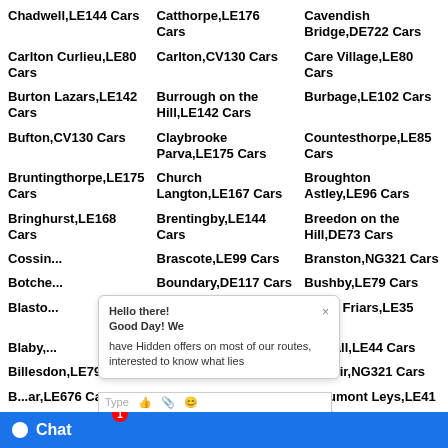Chadwell,LE144 Cars
Catthorpe,LE176 Cars
Cavendish Bridge,DE722 Cars
Carlton Curlieu,LE80 Cars
Carlton,CV130 Cars
Care Village,LE80 Cars
Burton Lazars,LE142 Cars
Burrough on the Hill,LE142 Cars
Burbage,LE102 Cars
Bufton,CV130 Cars
Claybrooke Parva,LE175 Cars
Countesthorpe,LE85 Cars
Bruntingthorpe,LE175 Cars
Church Langton,LE167 Cars
Broughton Astley,LE96 Cars
Bringhurst,LE168 Cars
Brentingby,LE144 Cars
Breedon on the Hill,DE73 Cars
Cossin... Cars
Brascote,LE99 Cars
Branston,NG321 Cars
Botche... Cars
Boundary,DE117 Cars
Bushby,LE79 Cars
Blasto... Cars
Broughton Lodges,LE143 Cars
Black Friars,LE35 Cars
Blaby,... Cars
Bitteswell,LE174 Cars
Birstall,LE44 Cars
Billesdon,LE79 Cars
Bescaby,LE144 Cars
Belvoir,NG321 Cars
B...ar,LE676 Cars
Beeby,LE73 Cars
Beaumont Leys,LE41 Cars